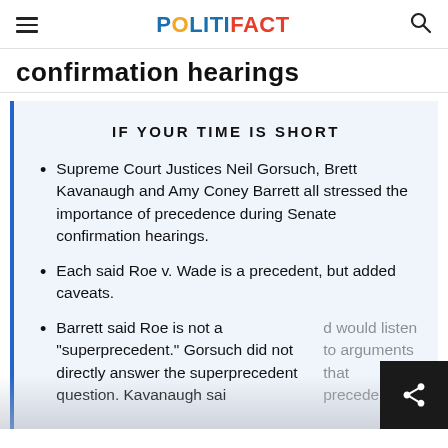POLITIFACT
confirmation hearings
IF YOUR TIME IS SHORT
Supreme Court Justices Neil Gorsuch, Brett Kavanaugh and Amy Coney Barrett all stressed the importance of precedence during Senate confirmation hearings.
Each said Roe v. Wade is a precedent, but added caveats.
Barrett said Roe is not a "superprecedent." Gorsuch did not directly answer the superprecedent question. Kavanaugh said would listen to arguments that precedents